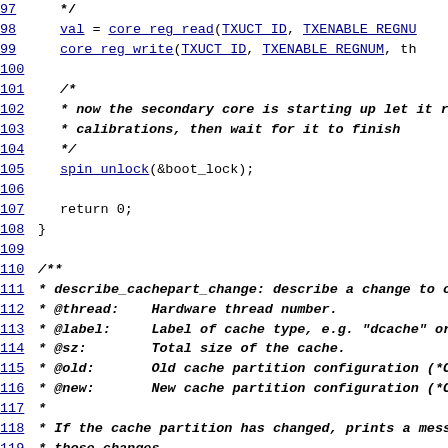97   */
98   val = core_reg_read(TXUCT_ID, TXENABLE_REGNU
99   core_reg_write(TXUCT_ID, TXENABLE_REGNUM, th
100
101  /*
102  * now the secondary core is starting up let it run
103  * calibrations, then wait for it to finish
104  */
105  spin_unlock(&boot_lock);
106
107  return 0;
108 }
109
110 /**
111 * describe_cachepart_change: describe a change to c
112 * @thread:   Hardware thread number.
113 * @label:    Label of cache type, e.g. "dcache" or "ica
114 * @sz:       Total size of the cache.
115 * @old:      Old cache partition configuration (*CPAR
116 * @new:      New cache partition configuration (*CPA
117 *
118 * If the cache partition has changed, prints a message
119 * those changes.
120 */
121 static void describe_cachepart_change(unsigned int threa